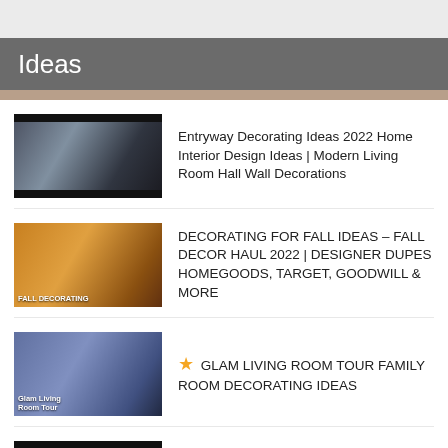Ideas
Entryway Decorating Ideas 2022 Home Interior Design Ideas | Modern Living Room Hall Wall Decorations
DECORATING FOR FALL IDEAS – FALL DECOR HAUL 2022 | DESIGNER DUPES HOMEGOODS, TARGET, GOODWILL & MORE
★ GLAM LIVING ROOM TOUR FAMILY ROOM DECORATING IDEAS
Home Decorating Ideas ~ From Farmhouse to Cottage ~ How To Mix Styles